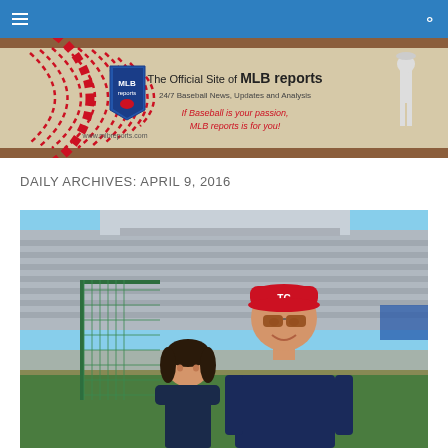MLB Reports navigation bar
[Figure (illustration): MLB Reports website banner with baseball stitching graphic, MLB Reports logo/shield, text 'The Official Site of MLB reports', '24/7 Baseball News, Updates and Analysis', 'If Baseball is your passion, MLB reports is for you!', 'www.mlbreports.com', and a baseball player figure on the right]
DAILY ARCHIVES: APRIL 9, 2016
[Figure (photo): Photo of a smiling man wearing a Minnesota Twins baseball cap and sunglasses standing with a young girl at a baseball stadium with empty bleacher seats in the background]